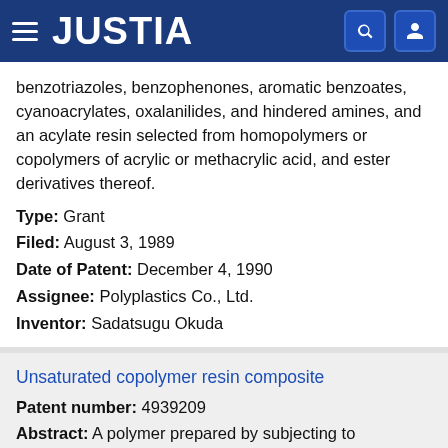JUSTIA
benzotriazoles, benzophenones, aromatic benzoates, cyanoacrylates, oxalanilides, and hindered amines, and an acylate resin selected from homopolymers or copolymers of acrylic or methacrylic acid, and ester derivatives thereof.
Type: Grant
Filed: August 3, 1989
Date of Patent: December 4, 1990
Assignee: Polyplastics Co., Ltd.
Inventor: Sadatsugu Okuda
Unsaturated copolymer resin composite
Patent number: 4939209
Abstract: A polymer prepared by subjecting to conditions of radical graft polymerization a copolymer of an .alpha.-olefin and an aliphatic nonconjugated diene